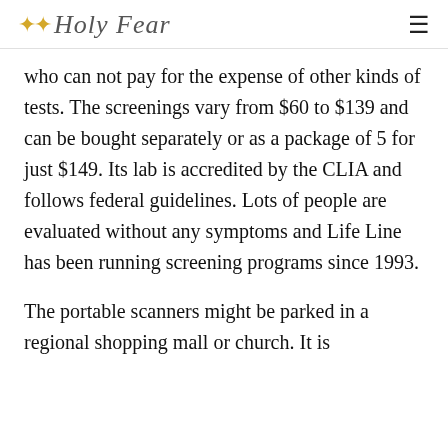✦✦ Holy Fear
who can not pay for the expense of other kinds of tests. The screenings vary from $60 to $139 and can be bought separately or as a package of 5 for just $149. Its lab is accredited by the CLIA and follows federal guidelines. Lots of people are evaluated without any symptoms and Life Line has been running screening programs since 1993.
The portable scanners might be parked in a regional shopping mall or church. It is